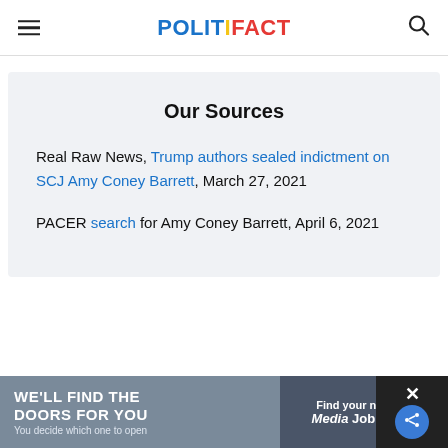POLITIFACT
Our Sources
Real Raw News, Trump authors sealed indictment on SCJ Amy Coney Barrett, March 27, 2021
PACER search for Amy Coney Barrett, April 6, 2021
[Figure (screenshot): Advertisement banner: 'WE'LL FIND THE DOORS FOR YOU - You decide which one to open' and 'Find your next job - Media Job Board']